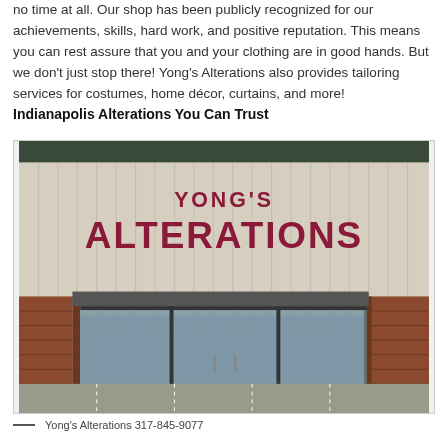no time at all. Our shop has been publicly recognized for our achievements, skills, hard work, and positive reputation. This means you can rest assure that you and your clothing are in good hands. But we don't just stop there! Yong's Alterations also provides tailoring services for costumes, home décor, curtains, and more!
Indianapolis Alterations You Can Trust
[Figure (photo): Exterior photo of Yong's Alterations storefront showing a beige/white vertical panel building with large red letters reading 'YONG'S ALTERATIONS' on the facade, brick columns flanking glass entrance doors, and a parking lot visible in the background.]
— Yong's Alterations 317-845-9077